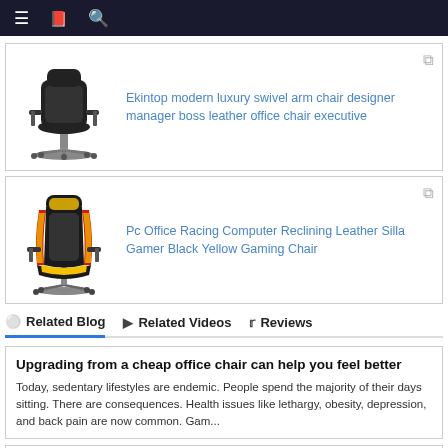Navigation bar with menu, bookmark, and search icons
[Figure (photo): Black leather executive office chair product image]
Ekintop modern luxury swivel arm chair designer manager boss leather office chair executive
[Figure (photo): Black and yellow gaming chair product image (Pc Office Racing Computer Reclining Leather Silla Gamer)]
Pc Office Racing Computer Reclining Leather Silla Gamer Black Yellow Gaming Chair
Related Blog | Related Videos | Reviews
Upgrading from a cheap office chair can help you feel better
Today, sedentary lifestyles are endemic. People spend the majority of their days sitting. There are consequences. Health issues like lethargy, obesity, depression, and back pain are now common. Gam...
A Guide to Gaming Chairs: The Best Options for Every G
Gaming chairs are the ideal...